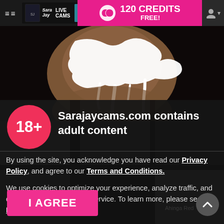≡≡  Sara Jay LIVE CAMS  |  120 CREDITS FREE!
[Figure (photo): Dark background photo showing a torso with white liquid painted/drizzled across the chest and shoulder area]
Sarajaycams.com contains adult content
By using the site, you acknowledge you have read our Privacy Policy, and agree to our Terms and Conditions.
We use cookies to optimize your experience, analyze traffic, and deliver more personalized service. To learn more, please see our Privacy Policy.
I AGREE